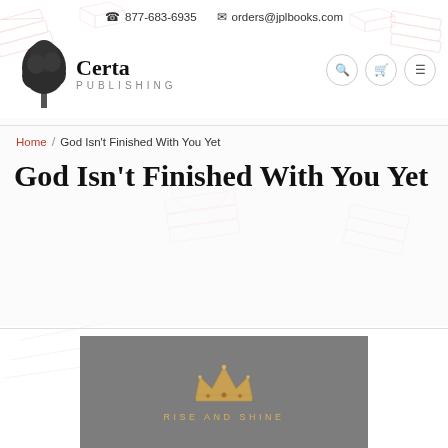877-683-6935   orders@jplbooks.com
[Figure (logo): Certa Publishing logo — tree illustration with 'Certa PUBLISHING' text]
Home / God Isn't Finished With You Yet
God Isn't Finished With You Yet
[Figure (illustration): Book cover image on grey background with golden crown icon and text 'RISE AND SHINE']